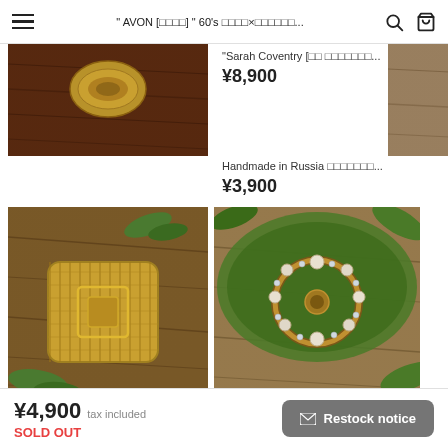" AVON [□□□□] " 60's □□□□×□□□□□□...
[Figure (photo): Photo of a vintage gold brooch on dark wood surface - Sarah Coventry product]
"Sarah Coventry [□□ □□□□□□□...
¥8,900
[Figure (photo): Photo of an orange flower-shaped brooch on wooden surface - Handmade in Russia product]
Handmade in Russia □□□□□□□...
¥3,900
[Figure (photo): Photo of a large gold textured square brooch with diagonal ribbing pattern, on wood with green leaves]
"□□□□□ [□□□] 60's 70's □□□□□
[Figure (photo): Photo of a circular wreath brooch with pearls and rhinestones on wood with green leaves]
"□□□□□ [□□□] 60's □□□□□□□□□□...
¥4,900 tax included
SOLD OUT
✉ Restock notice